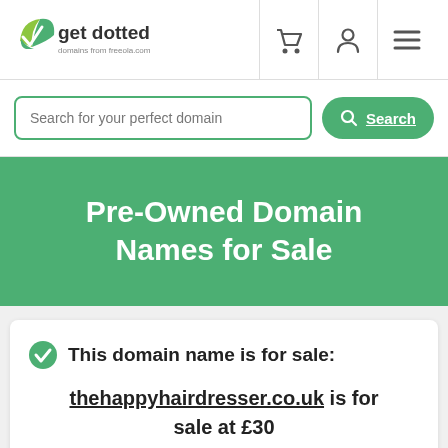[Figure (logo): Get Dotted logo with green checkmark and tagline 'domains from freeola.com']
[Figure (infographic): Navigation icons: shopping cart, user/person, hamburger menu]
Search for your perfect domain
Search
Pre-Owned Domain Names for Sale
✓ This domain name is for sale:
thehappyhairdresser.co.uk is for sale at £30